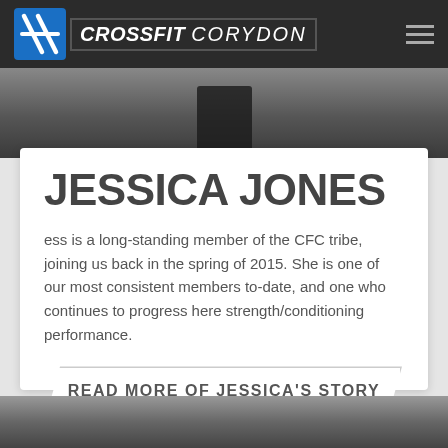CROSSFIT CORYDON
[Figure (photo): Partial photo of a person in a gym setting, cropped to show lower body/torso area]
JESSICA JONES
ess is a long-standing member of the CFC tribe, joining us back in the spring of 2015. She is one of our most consistent members to-date, and one who continues to progress here strength/conditioning performance.
READ MORE OF JESSICA'S STORY
[Figure (photo): Partial outdoor photo visible at bottom of page]